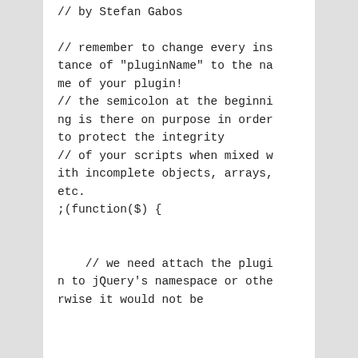// by Stefan Gabos

// remember to change every instance of "pluginName" to the name of your plugin!
// the semicolon at the beginning is there on purpose in order to protect the integrity
// of your scripts when mixed with incomplete objects, arrays, etc.
;(function($) {


    // we need attach the plugin to jQuery's namespace or otherwise it would not be